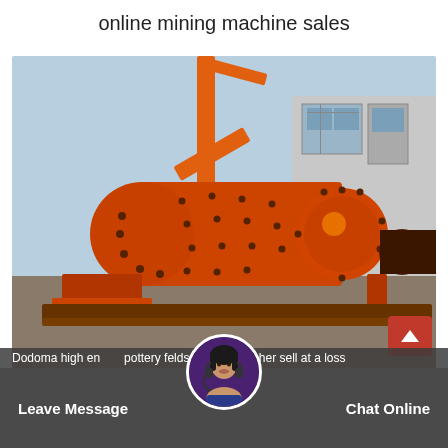online mining machine sales
[Figure (photo): Large orange ball mill / grinding machine on a factory yard, with orange crane arm visible in background and industrial building behind. The cylindrical drum with bolted flanges is the main subject.]
Dodoma high energy pottery feldspar rock crusher sell at a loss
Leave Message
Chat Online